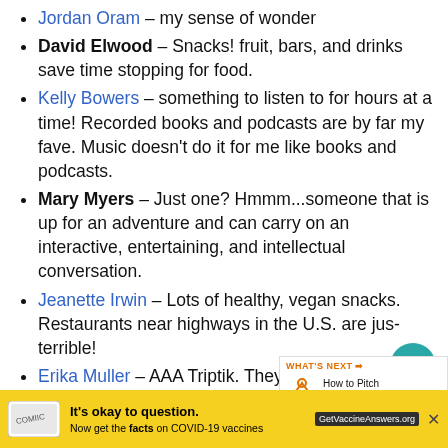Jordan Oram – my sense of wonder
David Elwood – Snacks! fruit, bars, and drinks save time stopping for food.
Kelly Bowers – something to listen to for hours at a time! Recorded books and podcasts are by far my fave. Music doesn't do it for me like books and podcasts.
Mary Myers – Just one? Hmmm...someone that is up for an adventure and can carry on an interactive, entertaining, and intellectual conversation.
Jeanette Irwin – Lots of healthy, vegan snacks. Restaurants near highways in the U.S. are just terrible!
Erika Muller – AAA Triptik. They are not as they used to be. Before they were great for estimating the distances to gas, food,
[Figure (other): Heart/favourite button overlay (teal circle with white heart icon)]
[Figure (other): Share button overlay (white circle with share icon)]
[Figure (other): What's Next promotional widget showing 'How to Pitch an Episode f...']
[Figure (other): Yellow advertisement banner for COVID-19 vaccine information: 'It's okay to question. Now get the facts on COVID-19 vaccines GetVaccineAnswers.org']